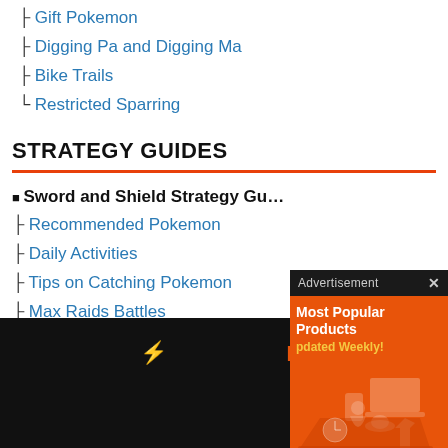├ Gift Pokemon
├ Digging Pa and Digging Ma
├ Bike Trails
└ Restricted Sparring
STRATEGY GUIDES
■ Sword and Shield Strategy Gu…
├ Recommended Pokemon
├ Daily Activities
├ Tips on Catching Pokemon
├ Max Raids Battles
├ Wild Area Weather Guide
├ Brilliant and Shiny Pokemon Diffe…
[Figure (screenshot): Advertisement overlay with dark header bar showing 'Advertisement' text and X close button, orange background with white text 'Most Popular Products' and yellow text 'Updated Weekly!' with shopping-related icons/illustration]
[Figure (screenshot): Bottom black navigation/toolbar bar with orange lightning bolt icon, orange bracket '[]' icon, and circular X close button]